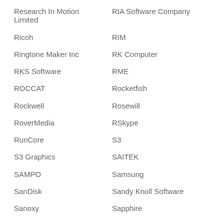Research In Motion Limited
RIA Software Company
Ricoh
RIM
Ringtone Maker Inc
RK Computer
RKS Software
RME
ROCCAT
Rocketfish
Rockwell
Rosewill
RoverMedia
RSkype
RunCore
S3
S3 Graphics
SAITEK
SAMPO
Samsung
SanDisk
Sandy Knoll Software
Sanoxy
Sapphire